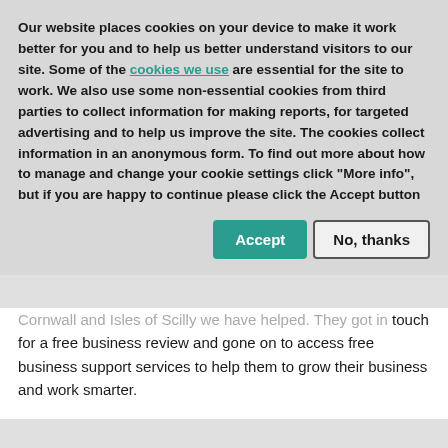Our website places cookies on your device to make it work better for you and to help us better understand visitors to our site. Some of the cookies we use are essential for the site to work. We also use some non-essential cookies from third parties to collect information for making reports, for targeted advertising and to help us improve the site. The cookies collect information in an anonymous form. To find out more about how to manage and change your cookie settings click "More info", but if you are happy to continue please click the Accept button
Cornwall and Isles of Scilly we have helped. They got in touch for a free business review and gone on to access free business support services to help them to grow their business and work smarter.